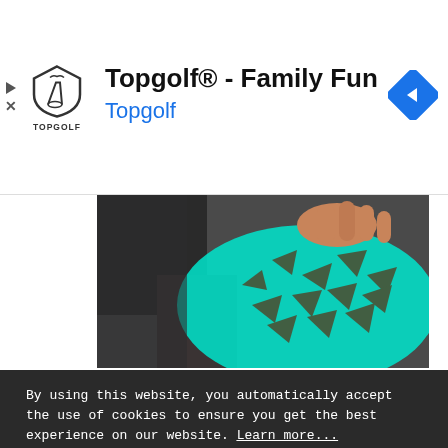[Figure (screenshot): Topgolf advertisement banner with logo, title 'Topgolf® - Family Fun', subtitle 'Topgolf' in blue, play and close buttons on left, blue navigation diamond icon on right]
[Figure (photo): Close-up photo of a hand gripping a golf club with cyan/teal glowing ball or surface visible]
By using this website, you automatically accept the use of cookies to ensure you get the best experience on our website. Learn more...
Understood